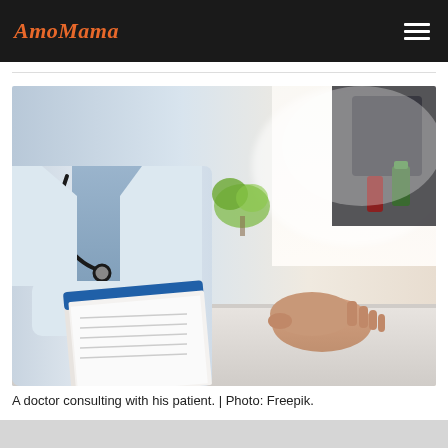AmoMama
[Figure (photo): A doctor in a white coat with a stethoscope writing on a clipboard/notepad, while a patient sits across the desk with hands clasped. Medical supplies and a plant are visible in the background.]
A doctor consulting with his patient. | Photo: Freepik.